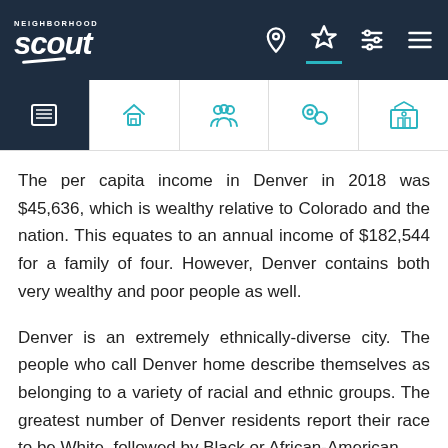Neighborhood Scout
The per capita income in Denver in 2018 was $45,636, which is wealthy relative to Colorado and the nation. This equates to an annual income of $182,544 for a family of four. However, Denver contains both very wealthy and poor people as well.
Denver is an extremely ethnically-diverse city. The people who call Denver home describe themselves as belonging to a variety of racial and ethnic groups. The greatest number of Denver residents report their race to be White, followed by Black or African-American.